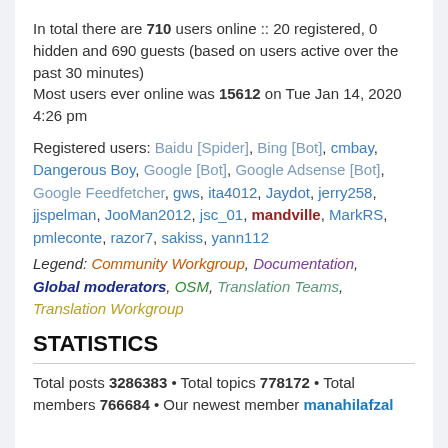In total there are 710 users online :: 20 registered, 0 hidden and 690 guests (based on users active over the past 30 minutes)
Most users ever online was 15612 on Tue Jan 14, 2020 4:26 pm
Registered users: Baidu [Spider], Bing [Bot], cmbay, Dangerous Boy, Google [Bot], Google Adsense [Bot], Google Feedfetcher, gws, ita4012, Jaydot, jerry258, jjspelman, JooMan2012, jsc_01, mandville, MarkRS, pmleconte, razor7, sakiss, yann112
Legend: Community Workgroup, Documentation, Global moderators, OSM, Translation Teams, Translation Workgroup
STATISTICS
Total posts 3286383 • Total topics 778172 • Total members 766684 • Our newest member manahilafzal